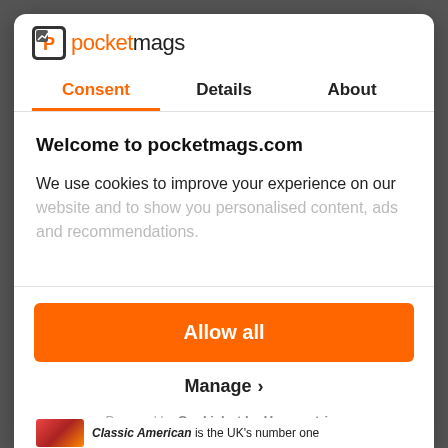[Figure (logo): Pocketmags logo with stylized icon and text]
Consent | Details | About
Welcome to pocketmags.com
We use cookies to improve your experience on our website and to show you personalised content, ads and recommendations.
Allow all
Manage
Powered by Cookiebot by Usercentrics
Classic American is the UK's number one